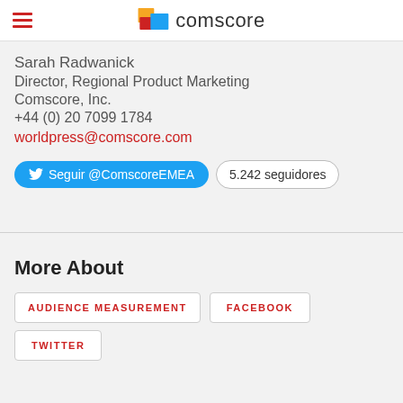comscore
Sarah Radwanick
Director, Regional Product Marketing
Comscore, Inc.
+44 (0) 20 7099 1784
worldpress@comscore.com
Seguir @ComscoreEMEA   5.242 seguidores
More About
AUDIENCE MEASUREMENT
FACEBOOK
TWITTER